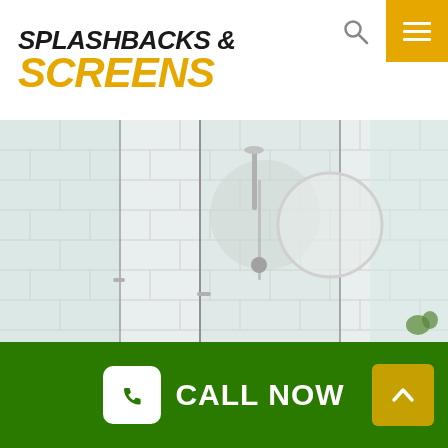SPLASHBACKS & SCREENS
[Figure (photo): Blurred photo of a modern frameless glass shower screen with white subway tiles, shower fixtures, and a round mirror visible in the background]
CALL NOW